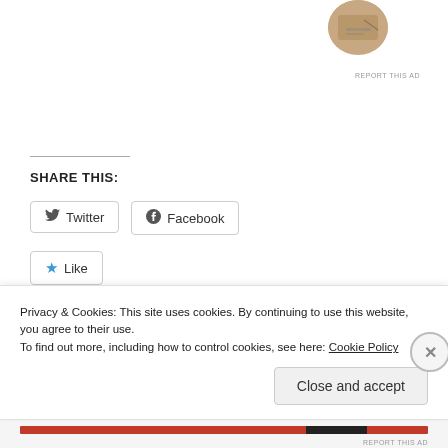[Figure (photo): Partial circular profile photo of person writing, positioned top right]
REPORT THIS AD
SHARE THIS:
Twitter
Facebook
Like
Be the first to like this.
Adam To Jesus – Death To Life
The Nature Of Sin
Privacy & Cookies: This site uses cookies. By continuing to use this website, you agree to their use.
To find out more, including how to control cookies, see here: Cookie Policy
Close and accept
REPORT THIS AD